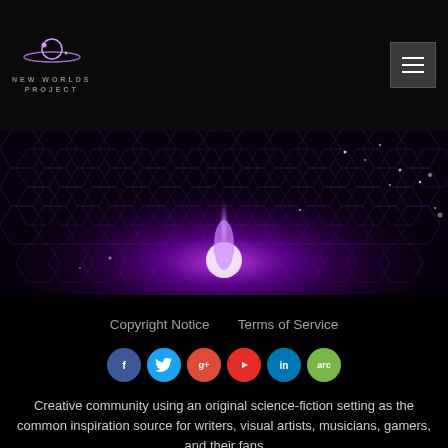[Figure (logo): New Worlds Project logo with stylized planet/moon icon above text NEW WORLDS PROJECT]
[Figure (illustration): Dark hexagonal grid background with purple glowing light beam in the center, creating a sci-fi atmosphere]
Copyright Notice    Terms of Service
[Figure (infographic): Row of social media icons: Facebook (blue), Twitter (cyan), Google+ (red), YouTube (red), LinkedIn (blue), ARC (green)]
Creative community using an original science-fiction setting as the common inspiration source for writers, visual artists, musicians, gamers, and their fans
Unless otherwise mentioned, this site, and all of its content © 2014 by New Worlds Project ASBL. All rights reserved.